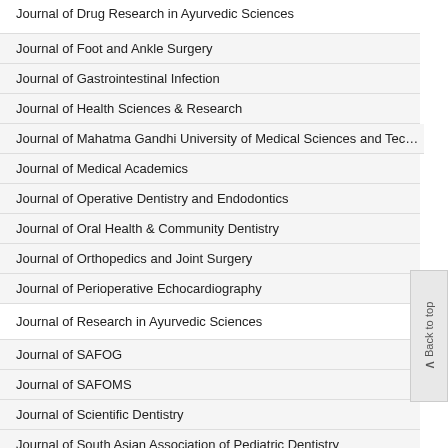Journal of Drug Research in Ayurvedic Sciences
Journal of Foot and Ankle Surgery
Journal of Gastrointestinal Infection
Journal of Health Sciences & Research
Journal of Mahatma Gandhi University of Medical Sciences and Technology
Journal of Medical Academics
Journal of Operative Dentistry and Endodontics
Journal of Oral Health & Community Dentistry
Journal of Orthopedics and Joint Surgery
Journal of Perioperative Echocardiography
Journal of Research in Ayurvedic Sciences
Journal of SAFOG
Journal of SAFOMS
Journal of Scientific Dentistry
Journal of South Asian Association of Pediatric Dentistry
Journal of Upper Limb Surgery
Journal of Postgraduate Medicine Education & Research
Panamerica Journal of Trauma, Critical Care & Emergency Surgery (Online O